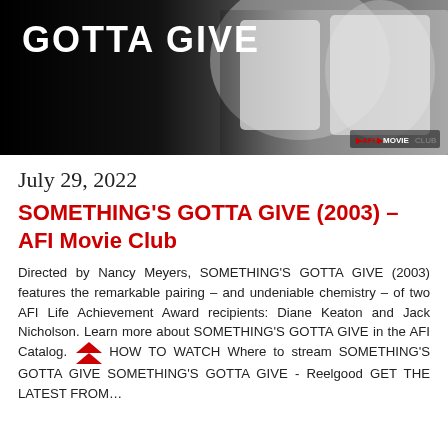[Figure (photo): Movie banner image for Something's Gotta Give featuring the title text 'GOTTA GIVE' in bold white letters over a dark background with a blurred scene of figures in white clothing. AFI Movie Club logo in lower right corner.]
July 29, 2022
SOMETHING'S GOTTA GIVE (2003) – AFI Movie Club
Directed by Nancy Meyers, SOMETHING'S GOTTA GIVE (2003) features the remarkable pairing – and undeniable chemistry – of two AFI Life Achievement Award recipients: Diane Keaton and Jack Nicholson. Learn more about SOMETHING'S GOTTA GIVE in the AFI Catalog. HOW TO WATCH Where to stream SOMETHING'S GOTTA GIVE SOMETHING'S GOTTA GIVE - Reelgood GET THE LATEST FROM…